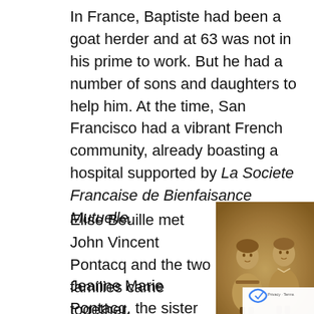In France, Baptiste had been a goat herder and at 63 was not in his prime to work. But he had a number of sons and daughters to help him. At the time, San Francisco had a vibrant French community, already boasting a hospital supported by La Societe Francaise de Bienfaisance Mutuelle.
Elise Beuille met John Vincent Pontacq and the two families came together.
[Figure (photo): Sepia-toned vintage photograph of two young children standing together, likely early 20th century portrait.]
Jeanne Marie Pontacq, the sister